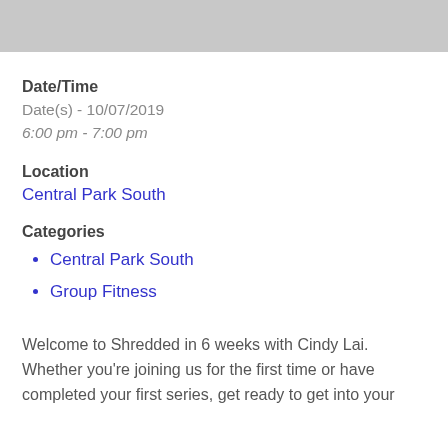[Figure (other): Gray banner/image placeholder at top of page]
Date/Time
Date(s) - 10/07/2019
6:00 pm - 7:00 pm
Location
Central Park South
Categories
Central Park South
Group Fitness
Welcome to Shredded in 6 weeks with Cindy Lai. Whether you're joining us for the first time or have completed your first series, get ready to get into your